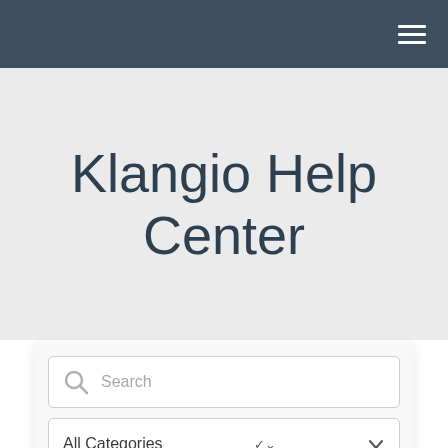Navigation bar with hamburger menu
Klangio Help Center
[Figure (screenshot): Search input field with magnifying glass icon and placeholder text 'Search']
[Figure (screenshot): Dropdown selector showing 'All Categories' with chevron arrow]
[Figure (screenshot): Dark navy search/submit button]